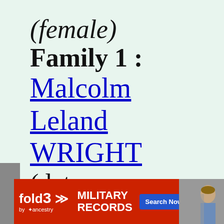(female)
Family 1 :
Malcolm Leland WRIGHT
(dates unknown)
[Figure (screenshot): Advertisement banner for Fold3 Military Records by Ancestry with Search Now button and a photo of a soldier]